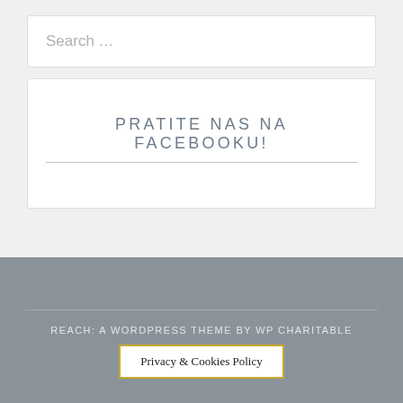Search …
PRATITE NAS NA FACEBOOKU!
REACH: A WORDPRESS THEME BY WP CHARITABLE
Privacy & Cookies Policy